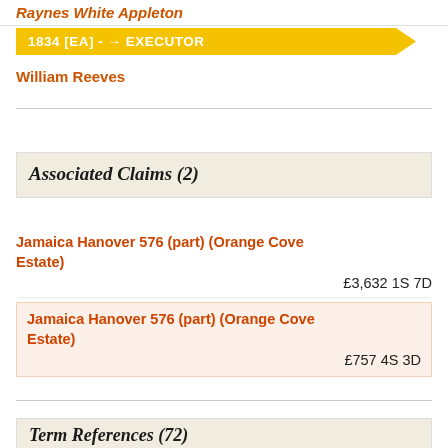Raynes White Appleton
1834 [EA] - → EXECUTOR
William Reeves
Associated Claims (2)
Jamaica Hanover 576 (part) (Orange Cove Estate)
£3,632 1S 7D
Jamaica Hanover 576 (part) (Orange Cove Estate)
£757 4S 3D
Term References (72)